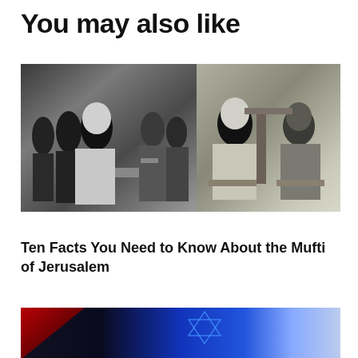You may also like
[Figure (photo): Two side-by-side black and white historical photographs showing groups of men in formal and military attire]
Ten Facts You Need to Know About the Mufti of Jerusalem
[Figure (photo): Partial image of a blue and red photograph, appears to be a flag or similar object]